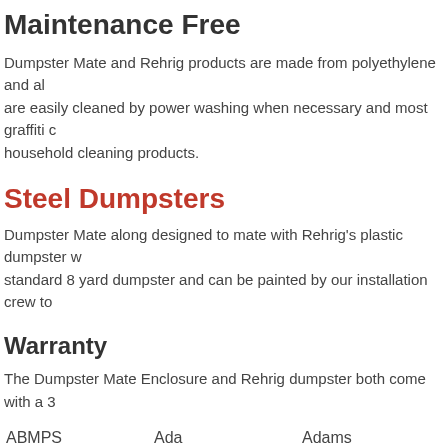Maintenance Free
Dumpster Mate and Rehrig products are made from polyethylene and al... are easily cleaned by power washing when necessary and most graffiti c... household cleaning products.
Steel Dumpsters
Dumpster Mate along designed to mate with Rehrig's plastic dumpster w... standard 8 yard dumpster and can be painted by our installation crew to
Warranty
The Dumpster Mate Enclosure and Rehrig dumpster both come with a 3
| Column1 | Column2 | Column3 |
| --- | --- | --- |
| ABMPS | Ada | Adams |
| Adrian | Afton | Ah Gwah Ching |
| Akeley | Albany | Albert Lea |
| Albertville | Alborn | Alden |